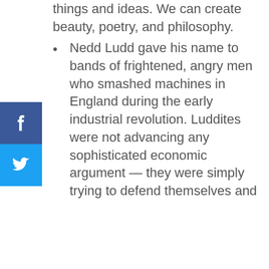things and ideas. We can create beauty, poetry, and philosophy.
Nedd Ludd gave his name to bands of frightened, angry men who smashed machines in England during the early industrial revolution. Luddites were not advancing any sophisticated economic argument — they were simply trying to defend themselves and